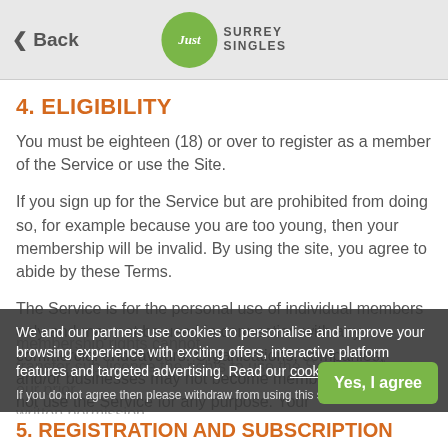Back | Just Surrey Singles
4. ELIGIBILITY
You must be eighteen (18) or over to register as a member of the Service or use the Site.
If you sign up for the Service but are prohibited from doing so, for example because you are too young, then your membership will be invalid. By using the site, you agree to abide by these Terms.
The Service is for the personal use of individual members only and may not be used in connection with any commercial endeavours. Organisations, companies, and/or businesses may not become members and should not use the Service for any purpose. Your [membership rights] cannot transfer [and] sub-licence the rights to use the Service without our prior written permission.
We and our partners use cookies to personalise and improve your browsing experience with exciting offers, interactive platform features and targeted advertising. Read our cookie policy.
If you do not agree then please withdraw from using this site.
5. REGISTRATION AND SUBSCRIPTION